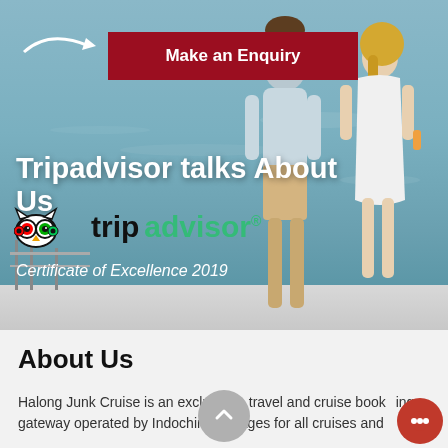[Figure (photo): Hero image of a couple standing on a boat deck overlooking turquoise ocean water, viewed from behind. Man in light blue shirt and khaki shorts, woman in white dress holding a drink. Teal/blue-grey water background.]
[Figure (logo): White arrow logo in top-left of hero banner]
Make an Enquiry
Tripadvisor talks About Us
[Figure (logo): TripAdvisor logo with owl icon, 'trip' in black and 'advisor' in green, with registered trademark symbol]
Certificate of Excellence 2019
About Us
Halong Junk Cruise is an exclusive travel and cruise booking gateway operated by Indochina Voyages for all cruises and